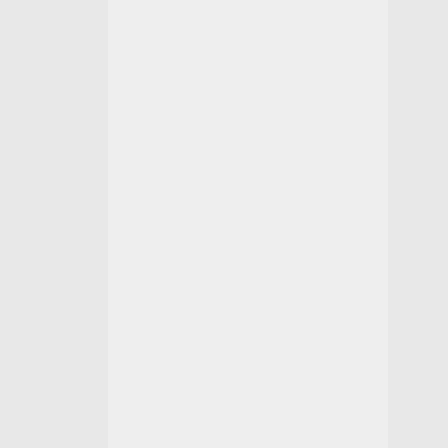- Shared hosting
- 24/7 Ticket and Live Chat Support
- Phone Support [Local]
- Managed Support
- 24/7/365 Server Monitoring with constant monitoring
- 99.9% Uptime Guarantee
- and so much more...
Server Information & Specifications
• + 680 Plantillas
• Constructores Drag n' Drop
• SitePad / Rvsitebuilder
• Sitios Múltiples
• Magicspam
• Mailchannels
• Inmunify360
• Protección DDOS